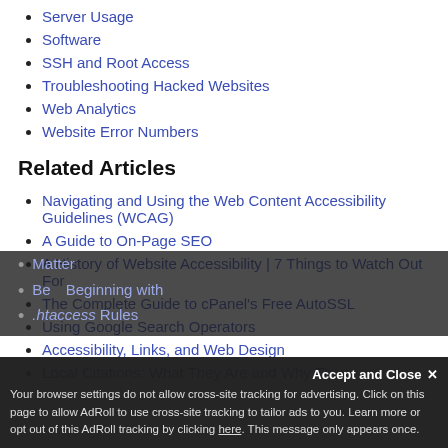Server Usage
Software
SSH and Root Access
Troubleshooting Hacked Websites
Web Analytics
Website Error Numbers
Related Articles
Navigating and Using the Web Content Accessibility Guidelines (WCAG)
A Guide to On-Page SEO
A History of Website Accessibility | 7 Things to Watch Out For
The Complete Guide to cPanel's Free AutoSSL
Using Google Search Operators
Accessibility, Links, and Web Design
Local Citations: What They Are and Why They Matter
Your browser settings do not allow cross-site tracking for advertising. Click on this page to allow AdRoll to use cross-site tracking to tailor ads to you. Learn more or opt out of this AdRoll tracking by clicking here. This message only appears once.